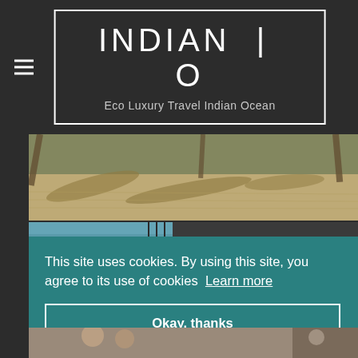[Figure (logo): Indian O logo with text 'INDIAN | O' and subtitle 'Eco Luxury Travel Indian Ocean' in a white-bordered box on dark background]
[Figure (photo): Beach scene with palm tree shadows on sand, sepia/vintage toned]
[Figure (photo): Partially visible second photo with blue sky and dark elements]
This site uses cookies. By using this site, you agree to its use of cookies Learn more
Okay, thanks
[Figure (photo): Partially visible bottom photo]